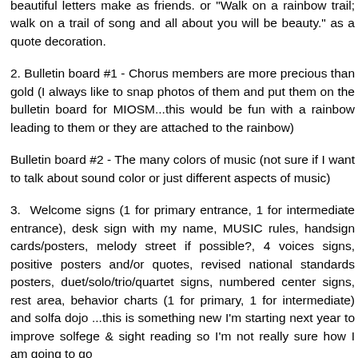beautiful letters make as friends. or "Walk on a rainbow trail; walk on a trail of song and all about you will be beauty." as a quote decoration.
2. Bulletin board #1 - Chorus members are more precious than gold (I always like to snap photos of them and put them on the bulletin board for MIOSM...this would be fun with a rainbow leading to them or they are attached to the rainbow)
Bulletin board #2 - The many colors of music (not sure if I want to talk about sound color or just different aspects of music)
3. Welcome signs (1 for primary entrance, 1 for intermediate entrance), desk sign with my name, MUSIC rules, handsign cards/posters, melody street if possible?, 4 voices signs, positive posters and/or quotes, revised national standards posters, duet/solo/trio/quartet signs, numbered center signs, rest area, behavior charts (1 for primary, 1 for intermediate) and solfa dojo ...this is something new I'm starting next year to improve solfege & sight reading so I'm not really sure how I am going to go